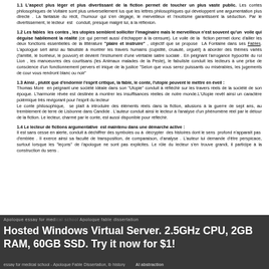1.1 L'aspect plus léger et plus divertissant de la fiction permet de toucher un plus vaste public. Les contes philosophiques de Voltaire sont plus universellement lus que les lettres philosophiques qui développent une argumentation plus directe . La fantaisie du récit, l'humour qui s'en dégage, le merveilleux et l'exotisme garantissent la séduction. Par le divertissement, le lecteur est conduit, presque malgré lui, à la réflexion.
1.2 Les fables les contes , les utopies semblent solliciter l'imaginaire mais le merveilleux n'est souvent qu'un voile qui déguise habilement la réalité (ce qui permet aussi d'échapper à la censure). Le voile de la fiction permet donc d'allier les deux fonctions essentielles de la littérature "plaire et instruire" , objectif que se propose LA Fontaine dans ses Fables. L'apologue sert ainsi au fabuliste à montrer les travers humains (cupidité, cruauté, orgueil) à aborder des thèmes variés (l'amitié, le bonheur, le pouvoir) et devient l'instrument d'une véritable satire sociale . En peignant l'arrogance hypocrite du roi Lion , les manoeuvres des courtisans (les Animaux malades de la Peste), le fabuliste conduit les lecteurs à une prise de conscience d'un fonctionnement pervers et inique de la justice "Selon que vous serez puissants ou misérables, les jugements de cour vous rendront blanc ou noir"
1.3 Ainsi , plutôt que d'endormir l'esprit critique, la fable, le conte, l'utopie peuvent le mettre en éveil :
Thomas More en peignant une société idéale dans son "Utopie" conduit à réfléchir sur les travers réels de la société de son époque. L'harmonie rêvée est destinée à montrer les insuffisances réelles de notre monde.L'Utopie revêt ainsi un caractère polémique très revigorant pour l'esprit du lecteur
Le conte philosophique, se plaît à introduire des éléments réels dans la fiction, allusions à la guerre de sept ans, au tremblement de terre de Lisbonne dans Candide . L'auteur conduit ainsi le lecteur à l'analyse d'un phénomène réel par le détour de la fiction. Le lecteur, charmé par le conte, est aussi disponible pour réfléchir.
1.4 Le lecteur de fictions argumentative est maintenu dans une démarche active : Il est sans cesse en alerte, conduit à déchiffrer des symboles ou à décrypter des histoires dont le sens profond n'apparaît pas d'emblée . Il exerce ainsi sa faculté de transposition, de comparaison, d'analyse . L'auteur lui demande d'être perspicace, surtout lorsque les "leçons" de l'apologue ne sont pas explicites. Le rôle du lecteur s'en trouve grandi, il participe à la construction du sens .
Hosted Windows Virtual Server. 2.5GHz CPU, 2GB RAM, 60GB SSD. Try it now for $1!
essay for medical school - Apologue Fable Dissertation, ib history